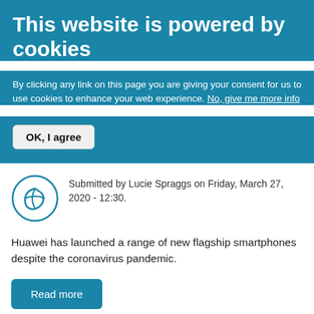This website is powered by cookies
By clicking any link on this page you are giving your consent for us to use cookies to enhance your web experience. No, give me more info
OK, I agree
Submitted by Lucie Spraggs on Friday, March 27, 2020 - 12:30.
Huawei has launched a range of new flagship smartphones despite the coronavirus pandemic.
Read more
Keeping your phone safe